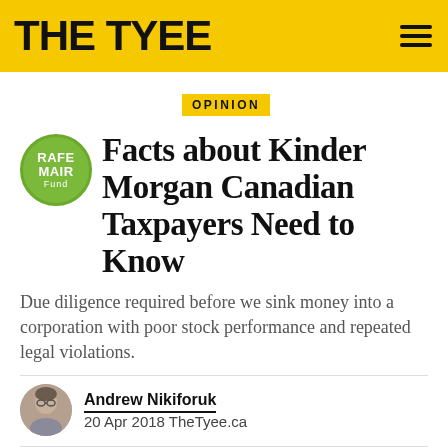THE TYEE
OPINION
Facts about Kinder Morgan Canadian Taxpayers Need to Know
Due diligence required before we sink money into a corporation with poor stock performance and repeated legal violations.
Andrew Nikiforuk
20 Apr 2018 TheTyee.ca